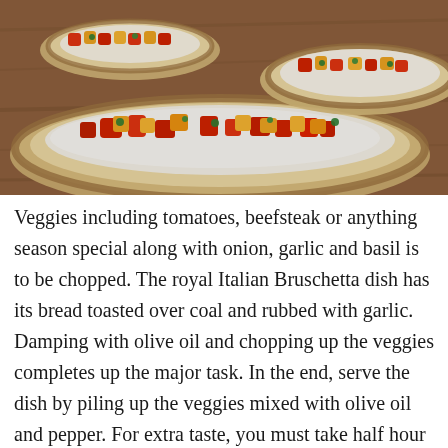[Figure (photo): Close-up photo of Italian bruschetta on a wooden cutting board. Multiple slices of toasted bread topped with white cream cheese/ricotta and colorful chopped vegetables including red tomatoes, yellow and orange bell peppers, and green herbs. Warm, rustic food photography.]
Veggies including tomatoes, beefsteak or anything season special along with onion, garlic and basil is to be chopped. The royal Italian Bruschetta dish has its bread toasted over coal and rubbed with garlic. Damping with olive oil and chopping up the veggies completes up the major task. In the end, serve the dish by piling up the veggies mixed with olive oil and pepper. For extra taste, you must take half hour and keep it in refrigerator.